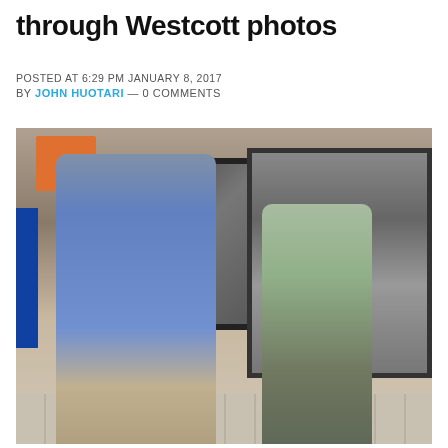through Westcott photos
POSTED AT 6:29 PM JANUARY 8, 2017
BY JOHN HUOTARI — 0 COMMENTS
[Figure (photo): Two men standing in front of framed black-and-white photographs on display. The man on the left is taller, wearing a blue shirt. The man on the right is shorter and elderly, wearing a green shirt and glasses. Behind them is a large portrait of a photographer holding a camera, labeled 'Ed Westcott'.]